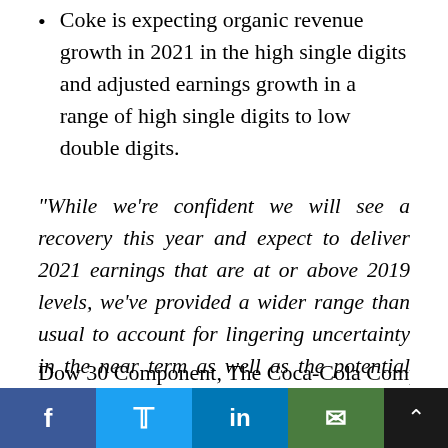Coke is expecting organic revenue growth in 2021 in the high single digits and adjusted earnings growth in a range of high single digits to low double digits.
“While we’re confident we will see a recovery this year and expect to deliver 2021 earnings that are at or above 2019 levels, we’ve provided a wider range than usual to account for lingering uncertainty in the near term as well as the potential for the acceleration to be asynchronous in nature,” stated CFO John Murphy.
Dow 30 Component, The Coca-Cola Company (K...